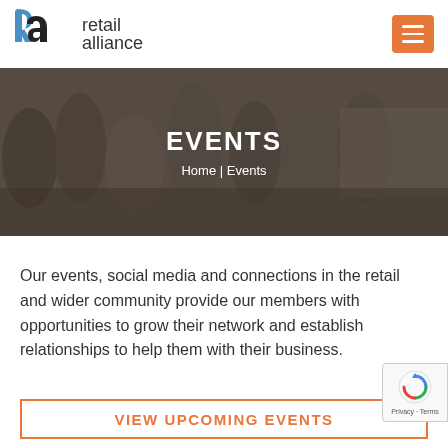[Figure (logo): Retail Alliance logo with blue and black 'r a' stylized letters and text 'retail alliance']
[Figure (photo): Banner photo of diverse people socializing at a networking event with dark overlay]
EVENTS
Home  |  Events
Our events, social media and connections in the retail and wider community provide our members with opportunities to grow their network and establish relationships to help them with their business.
VIEW UPCOMING EVENTS